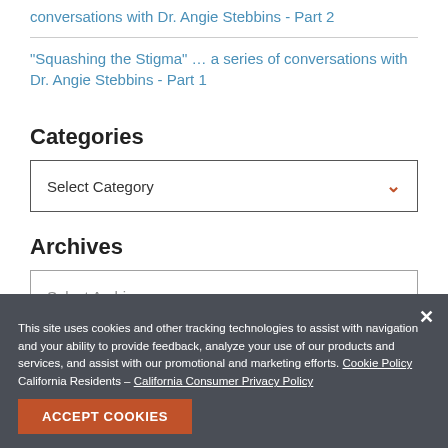conversations with Dr. Angie Stebbins - Part 2
“Squashing the Stigma” … a series of conversations with Dr. Angie Stebbins - Part 1
Categories
Select Category
Archives
Select Archive
This site uses cookies and other tracking technologies to assist with navigation and your ability to provide feedback, analyze your use of our products and services, and assist with our promotional and marketing efforts. Cookie Policy California Residents – California Consumer Privacy Policy
ACCEPT COOKIES